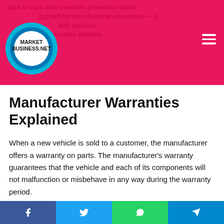MarketBusiness.net — Article about vehicle protection plans that fill the gap left by manufacturer warranties — auto insurance policies
Manufacturer Warranties Explained
When a new vehicle is sold to a customer, the manufacturer offers a warranty on parts. The manufacturer's warranty guarantees that the vehicle and each of its components will not malfunction or misbehave in any way during the warranty period.
In case of parts or defects failure, the manufacturer undertakes to replace the component free of charge or even replace the vehicle. Manufacturer warranties usually